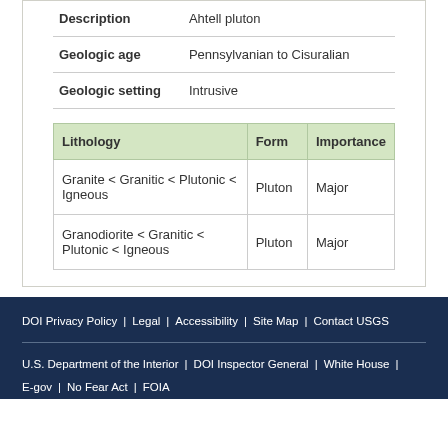| Field | Value |
| --- | --- |
| Description | Ahtell pluton |
| Geologic age | Pennsylvanian to Cisuralian |
| Geologic setting | Intrusive |
| Lithology | Form | Importance |
| --- | --- | --- |
| Granite < Granitic < Plutonic < Igneous | Pluton | Major |
| Granodiorite < Granitic < Plutonic < Igneous | Pluton | Major |
DOI Privacy Policy | Legal | Accessibility | Site Map | Contact USGS | U.S. Department of the Interior | DOI Inspector General | White House | E-gov | No Fear Act | FOIA